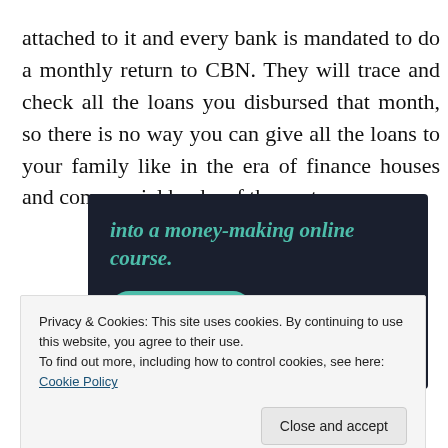attached to it and every bank is mandated to do a monthly return to CBN. They will trace and check all the loans you disbursed that month, so there is no way you can give all the loans to your family like in the era of finance houses and commercial banks of the past.
[Figure (other): Advertisement banner with dark background showing text 'into a money-making online course.' in teal italic font, and a teal 'Learn More' button.]
Privacy & Cookies: This site uses cookies. By continuing to use this website, you agree to their use.
To find out more, including how to control cookies, see here: Cookie Policy
Close and accept